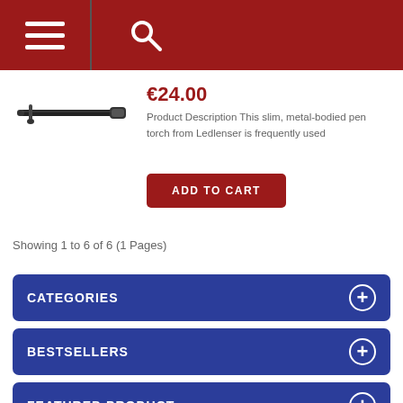Navigation header with menu and search icons
[Figure (photo): Slim black pen torch (flashlight) from Ledlenser, shown at an angle on white background]
€24.00
Product Description This slim, metal-bodied pen torch from Ledlenser is frequently used
ADD TO CART
Showing 1 to 6 of 6 (1 Pages)
CATEGORIES
BESTSELLERS
FEATURED PRODUCT